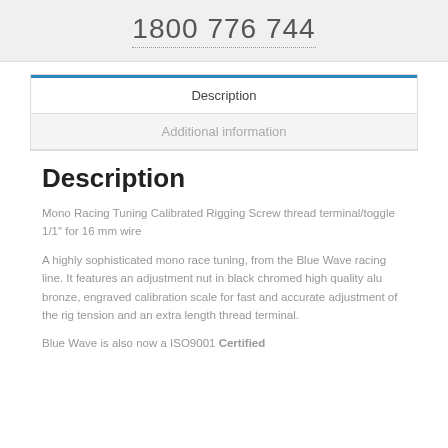1800 776 744
Description
Additional information
Description
Mono Racing Tuning Calibrated Rigging Screw thread terminal/toggle 1/1″ for 16 mm wire
A highly sophisticated mono race tuning, from the Blue Wave racing line. It features an adjustment nut in black chromed high quality alu bronze, engraved calibration scale for fast and accurate adjustment of the rig tension and an extra length thread terminal.
Blue Wave is also now a ISO9001 Certified